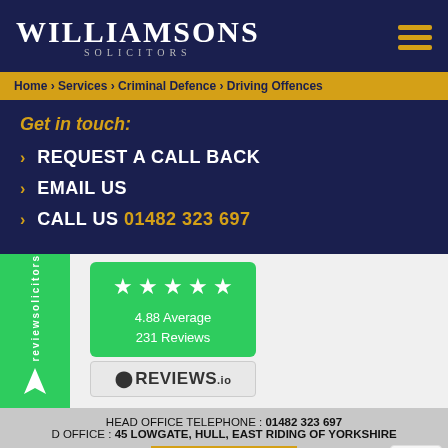[Figure (logo): Williamsons Solicitors logo — white serif text on dark navy background with hamburger menu icon]
Home > Services > Criminal Defence > Driving Offences
Get in touch:
REQUEST A CALL BACK
EMAIL US
CALL US 01482 323 697
[Figure (infographic): ReviewSolicitors green badge with 5 stars, 4.88 Average, 231 Reviews, and Reviews.io logo]
HEAD OFFICE TELEPHONE : 01482 323 697
D OFFICE : 45 LOWGATE, HULL, EAST RIDING OF YORKSHIRE
BACK TO TOP
CONTACT US